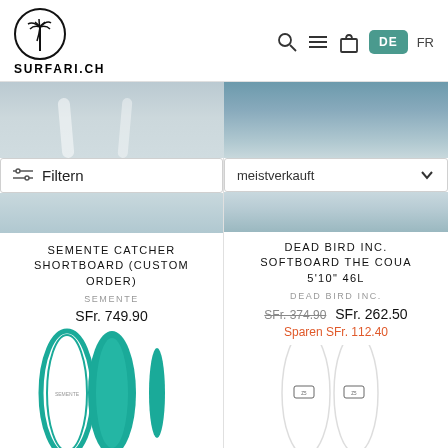[Figure (logo): Surfari.ch logo with palm tree in circle and SURFARI.CH text below]
[Figure (screenshot): Navigation icons: search, hamburger menu, bag, DE language button (teal), FR language option]
[Figure (photo): Left product surfboard photo top portion, partially visible]
Filtern
meistverkauft
[Figure (photo): Right product photo top portion showing surfboards in water]
SEMENTE CATCHER SHORTBOARD (CUSTOM ORDER)
SEMENTE
SFr. 749.90
DEAD BIRD INC. SOFTBOARD THE COUA 5'10" 46L
DEAD BIRD INC.
SFr. 374.90 SFr. 262.50
Sparen SFr. 112.40
[Figure (photo): Bottom left: two teal/turquoise surfboards standing upright]
[Figure (photo): Bottom right: two white surfboards with dark logos standing upright]